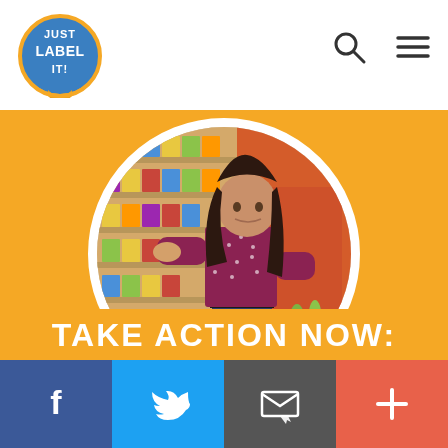[Figure (logo): Just Label It! logo - circular blue and yellow badge with white text]
[Figure (photo): Woman in burgundy floral blouse shopping in grocery store aisle, examining product on shelf, with shopping cart containing green vegetables]
TAKE ACTION NOW:
[Figure (infographic): Social sharing bar with four buttons: Facebook (blue, f icon), Twitter (light blue, bird icon), Email (dark gray, envelope icon), Plus/More (red-orange, + icon)]